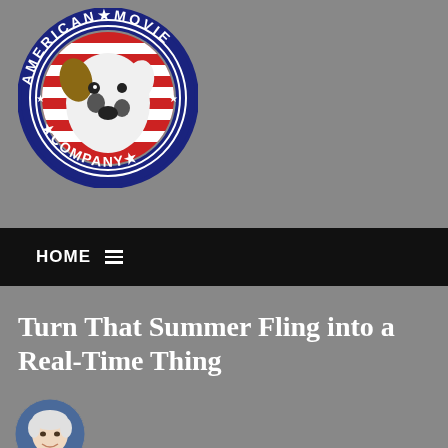[Figure (logo): American Movie Company circular logo with a white dog (Jack Russell terrier) in the center, blue border with stars and white text reading 'AMERICAN MOVIE COMPANY']
HOME ≡
Turn That Summer Fling into a Real-Time Thing
[Figure (photo): Small circular avatar photo of an older man with white hair, smiling, wearing a light blue shirt]